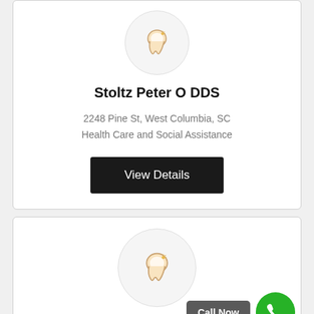[Figure (logo): Dental tooth icon inside a light gray circle]
Stoltz Peter O DDS
2248 Pine St, West Columbia, SC
Health Care and Social Assistance
View Details
[Figure (logo): Dental tooth icon inside a light gray circle]
Call Now